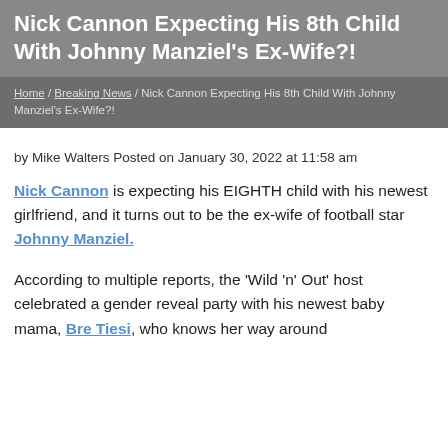Nick Cannon Expecting His 8th Child With Johnny Manziel's Ex-Wife?!
Home / Breaking News / Nick Cannon Expecting His 8th Child With Johnny Manziel's Ex-Wife?!
by Mike Walters Posted on January 30, 2022 at 11:58 am
Nick Cannon is expecting his EIGHTH child with his newest girlfriend, and it turns out to be the ex-wife of football star Johnny Manziel.
According to multiple reports, the 'Wild 'n' Out' host celebrated a gender reveal party with his newest baby mama, Bre Tiesi, who knows her way around